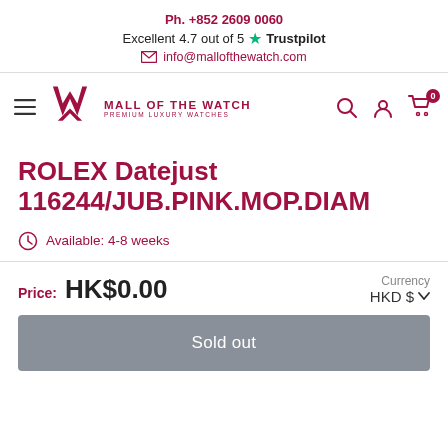Ph. +852 2609 0060 | Excellent 4.7 out of 5 Trustpilot | info@mallofthewatch.com
[Figure (logo): Mall of the Watch logo with hamburger menu, W icon, brand name, search, account and cart icons]
ROLEX Datejust 116244/JUB.PINK.MOP.DIAM
Available: 4-8 weeks
Price: HK$0.00 | Currency: HKD $
Sold out